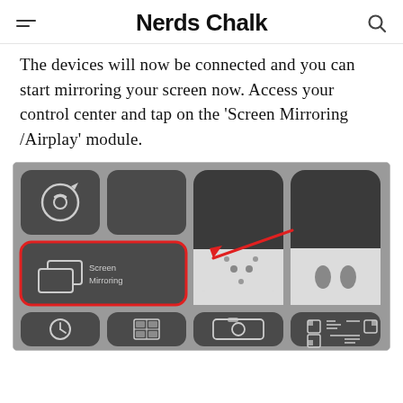Nerds Chalk
The devices will now be connected and you can start mirroring your screen now. Access your control center and tap on the ‘Screen Mirroring /Airplay’ module.
[Figure (screenshot): iOS Control Center screenshot showing Screen Mirroring button highlighted with a red border and a red arrow pointing to it. Other visible controls include rotation lock, Do Not Disturb/moon, brightness slider, AirPods control, and bottom row icons.]